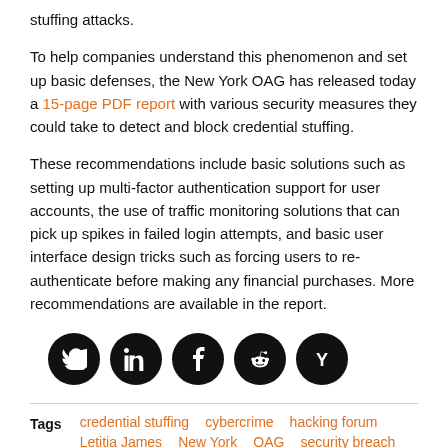stuffing attacks.
To help companies understand this phenomenon and set up basic defenses, the New York OAG has released today a 15-page PDF report with various security measures they could take to detect and block credential stuffing.
These recommendations include basic solutions such as setting up multi-factor authentication support for user accounts, the use of traffic monitoring solutions that can pick up spikes in failed login attempts, and basic user interface design tricks such as forcing users to re-authenticate before making any financial purchases. More recommendations are available in the report.
[Figure (infographic): Row of five circular social media share buttons: Twitter, LinkedIn, Facebook, Reddit, Hacker News (Y)]
Tags   credential stuffing   cybercrime   hacking forum   Letitia James   New York   OAG   security breach